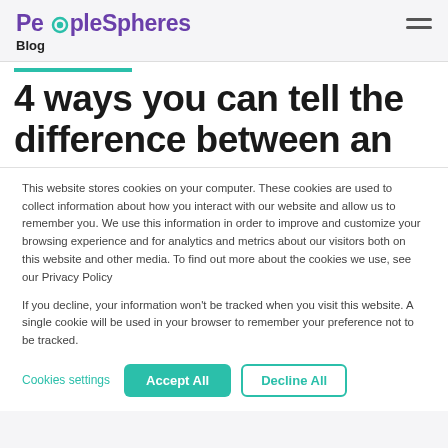PeopleSpheres Blog
4 ways you can tell the difference between an
This website stores cookies on your computer. These cookies are used to collect information about how you interact with our website and allow us to remember you. We use this information in order to improve and customize your browsing experience and for analytics and metrics about our visitors both on this website and other media. To find out more about the cookies we use, see our Privacy Policy
If you decline, your information won't be tracked when you visit this website. A single cookie will be used in your browser to remember your preference not to be tracked.
Cookies settings | Accept All | Decline All